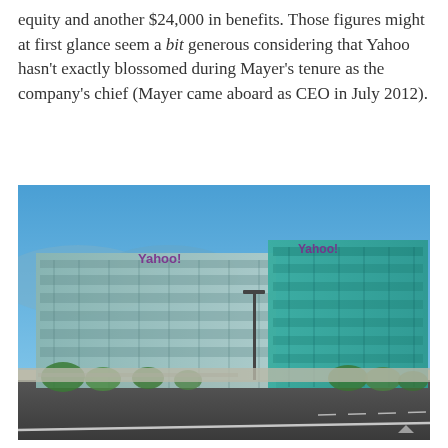equity and another $24,000 in benefits. Those figures might at first glance seem a bit generous considering that Yahoo hasn't exactly blossomed during Mayer's tenure as the company's chief (Mayer came aboard as CEO in July 2012).
[Figure (photo): Exterior photograph of Yahoo headquarters buildings — two large modern glass office buildings (one silver-grey, one teal/turquoise) with Yahoo logos visible on the facades, surrounded by trees, parking lot, and a road in the foreground under a clear blue sky.]